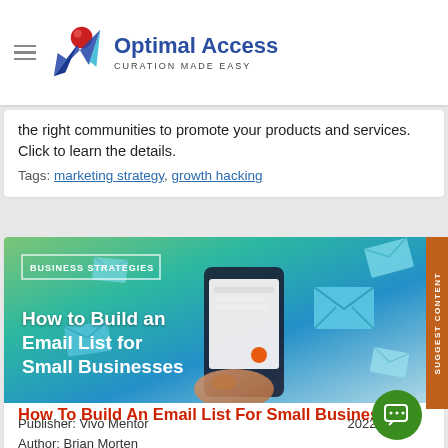Optimal Access — CURATION MADE EASY
the right communities to promote your products and services. Click to learn the details.
Tags: marketing strategy, growth hacking
[Figure (photo): Article banner image for 'How to Build an Email List for Small Businesses' showing a hand holding a smartphone with floating email envelope icons on a blue/green gradient background. Badge reads BUSINESS STRATEGIES.]
Publisher: Vivo Mentor
Author: Brian Morten
2022-02-24
How To Build An Email List For Small Businesses